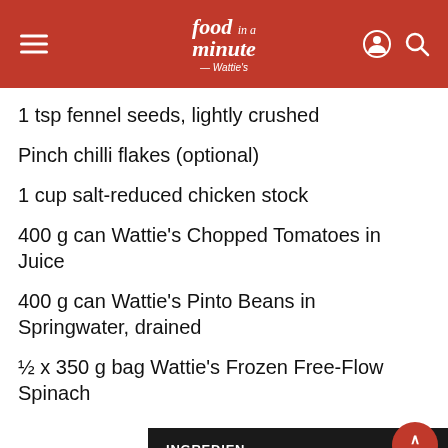food in a minute by Wattie's
1 tsp fennel seeds, lightly crushed
Pinch chilli flakes (optional)
1 cup salt-reduced chicken stock
400 g can Wattie's Chopped Tomatoes in Juice
400 g can Wattie's Pinto Beans in Springwater, drained
½ x 350 g bag Wattie's Frozen Free-Flow Spinach
INGREDIENTS   Top
Made with